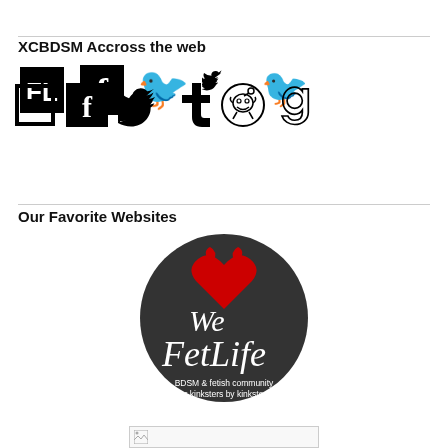XCBDSM Accross the web
[Figure (illustration): Row of social media icons: FetLife (FL box), Facebook, Twitter bird, Tumblr t, Reddit alien, Goodreads g]
Our Favorite Websites
[Figure (logo): We love FetLife dark circle logo with devil heart. Text: We FetLife, BDSM & fetish community for kinksters by kinksters]
[Figure (photo): Broken image placeholder at bottom]